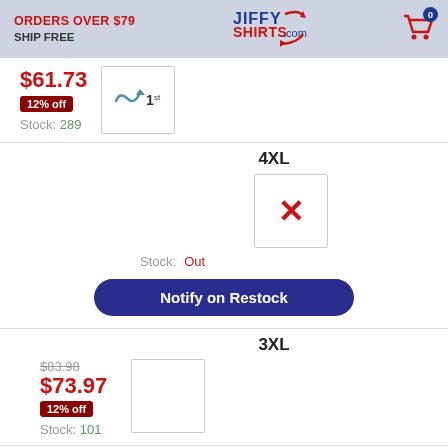ORDERS OVER $79 SHIP FREE — Jiffy Shirts .com — Cart: 0
$61.73 — 12% off — Stock: 289
4XL
Stock: Out
Notify on Restock
3XL
$83.98 $73.97 12% off Stock: 101
Restock Date